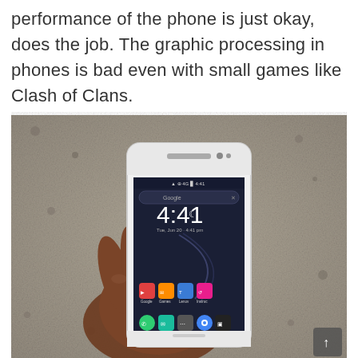performance of the phone is just okay, does the job. The graphic processing in phones is bad even with small games like Clash of Clans.
[Figure (photo): A hand holding a white Android smartphone showing the home screen with time 4:41, Google search bar, and app icons, photographed outdoors against a concrete/gravel background.]